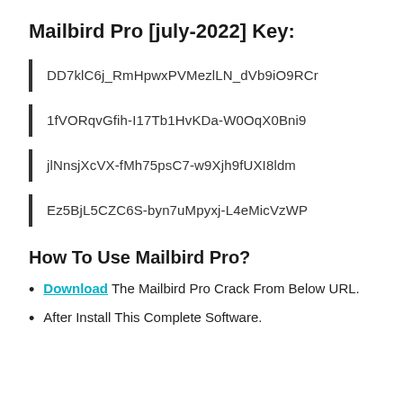Mailbird Pro [july-2022] Key:
DD7klC6j_RmHpwxPVMezlLN_dVb9iO9RCr
1fVORqvGfih-I17Tb1HvKDa-W0OqX0Bni9
jlNnsjXcVX-fMh75psC7-w9Xjh9fUXI8ldm
Ez5BjL5CZC6S-byn7uMpyxj-L4eMicVzWP
How To Use Mailbird Pro?
Download The Mailbird Pro Crack From Below URL.
After Install This Complete Software.